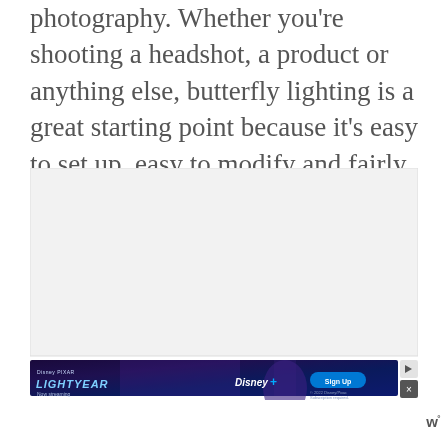photography. Whether you're shooting a headshot, a product or anything else, butterfly lighting is a great starting point because it's easy to set up, easy to modify and fairly forgiving of mistakes.
[Figure (other): Large white/light gray rectangular ad placeholder area, with a Disney Pixar Lightyear advertisement banner at the bottom showing 'Now streaming' on Disney+]